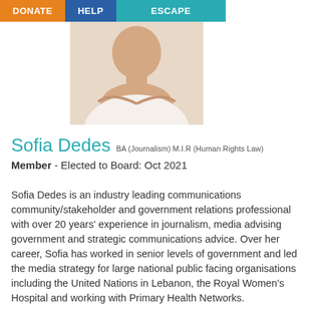DONATE | HELP | ESCAPE
[Figure (photo): Photo of Sofia Dedes, a woman with arms crossed, wearing white, visible from chest up against a white background.]
Sofia Dedes BA (Journalism) M.I.R (Human Rights Law)
Member - Elected to Board: Oct 2021
Sofia Dedes is an industry leading communications community/stakeholder and government relations professional with over 20 years’ experience in journalism, media advising government and strategic communications advice. Over her career, Sofia has worked in senior levels of government and led the media strategy for large national public facing organisations including the United Nations in Lebanon, the Royal Women’s Hospital and working with Primary Health Networks.